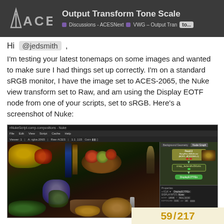Output Transform Tone Scale — Discussions - ACESNext — VWG – Output Transform — to...
Hi @jedsmith ,
I'm testing your latest tonemaps on some images and wanted to make sure I had things set up correctly. I'm on a standard sRGB monitor, I have the image set to ACES-2065, the Nuke view transform set to Raw, and am using the Display EOTF node from one of your scripts, set to sRGB. Here's a screenshot of Nuke:
[Figure (screenshot): Screenshot of Nuke compositing software showing a still life image with fruits and vegetables on the left, and a node graph on the right with nodes for ACES-2065 color space and DisplayEOTF, with properties panel below]
59 / 217